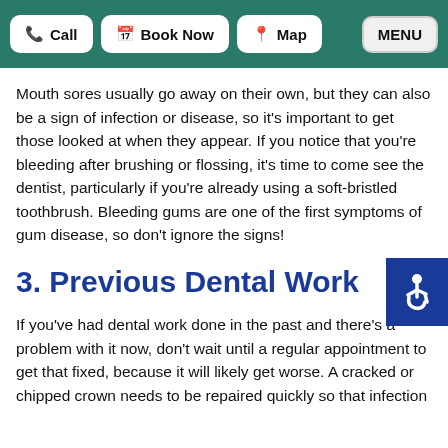Call | Book Now | Map | MENU
Mouth sores usually go away on their own, but they can also be a sign of infection or disease, so it's important to get those looked at when they appear. If you notice that you're bleeding after brushing or flossing, it's time to come see the dentist, particularly if you're already using a soft-bristled toothbrush. Bleeding gums are one of the first symptoms of gum disease, so don't ignore the signs!
3. Previous Dental Work
If you've had dental work done in the past and there's a problem with it now, don't wait until a regular appointment to get that fixed, because it will likely get worse. A cracked or chipped crown needs to be repaired quickly so that infection doesn't set in. We—most fillings need to be replaced